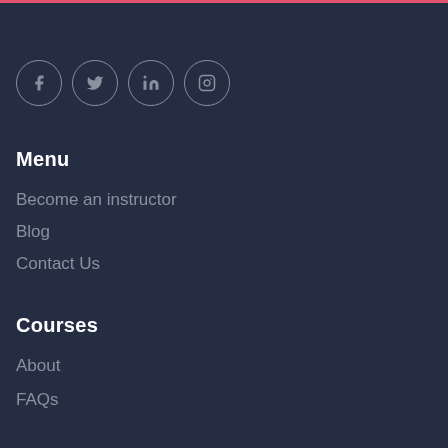[Figure (other): Social media icons row: Facebook, Twitter, LinkedIn, Instagram — each in a circle outline]
Menu
Become an instructor
Blog
Contact Us
Courses
About
FAQs